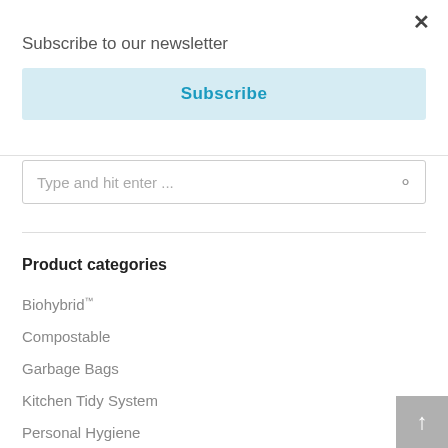×
Subscribe to our newsletter
Subscribe
Type and hit enter ...
Product categories
Biohybrid™
Compostable
Garbage Bags
Kitchen Tidy System
Personal Hygiene